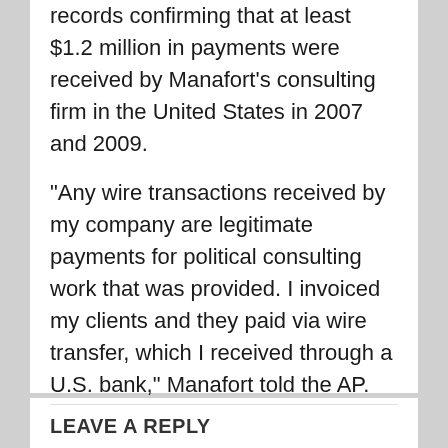records confirming that at least $1.2 million in payments were received by Manafort's consulting firm in the United States in 2007 and 2009.
“Any wire transactions received by my company are legitimate payments for political consulting work that was provided. I invoiced my clients and they paid via wire transfer, which I received through a U.S. bank,” Manafort told the AP.
...
Posted in Політика
LEAVE A REPLY